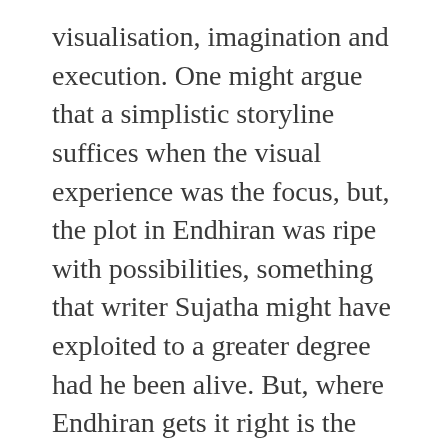visualisation, imagination and execution. One might argue that a simplistic storyline suffices when the visual experience was the focus, but, the plot in Endhiran was ripe with possibilities, something that writer Sujatha might have exploited to a greater degree had he been alive. But, where Endhiran gets it right is the conceptualisation of the rogue robot and especially, the dialogues in the end as the robot dismantles itself. In avoiding customary tropes like world domination and destruction of the human race and instead making love the primary